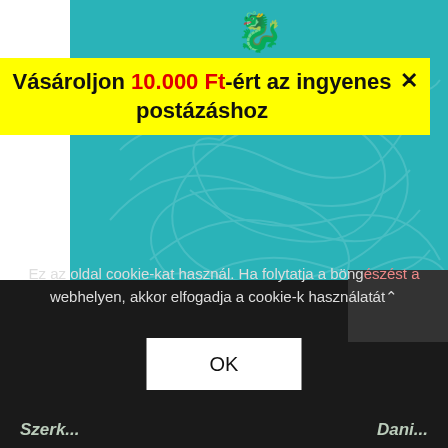[Figure (illustration): Book cover with teal background showing decorative swirl/dragon pattern and white title text 'Megnyílt szemek', with partial yellow publisher logo visible at top]
Vásároljon 10.000 Ft-ért az ingyenes postázáshoz ×
Ez az oldal cookie-kat használ. Ha folytatja a böngészést a webhelyen, akkor elfogadja a cookie-k használatát.
OK